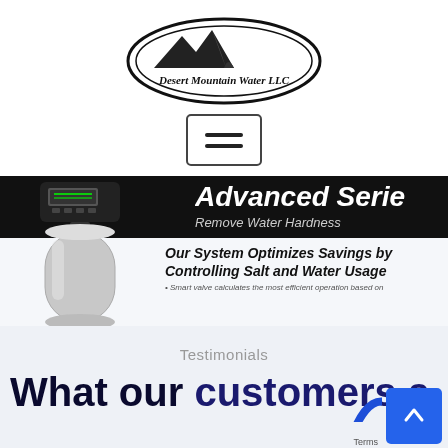[Figure (logo): Desert Mountain Water LLC oval logo with mountain silhouette graphic and company name text]
[Figure (screenshot): Hamburger menu button (three horizontal lines) in a rounded rectangle border]
[Figure (photo): Banner image showing a water softener appliance on the left with black background header reading 'Advanced Serie' (cropped) and 'Remove Water Hardness', and a light background section reading 'Our System Optimizes Savings by Controlling Salt and Water Usage' with smaller text 'Smart valve calculates the most efficient operation based on']
Testimonials
What our customers a...